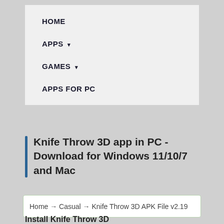HOME
APPS ▾
GAMES ▾
APPS FOR PC
Knife Throw 3D app in PC - Download for Windows 11/10/7 and Mac
Home → Casual → Knife Throw 3D APK File v2.19
Install Knife Throw 3D